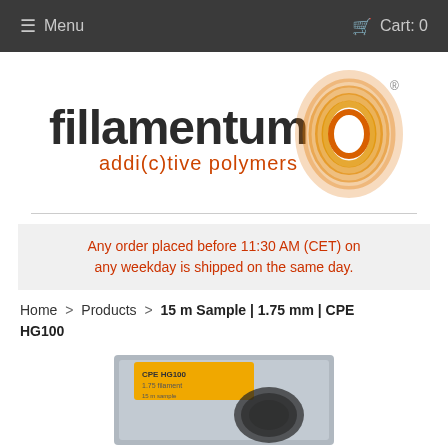Menu  Cart: 0
[Figure (logo): Fillamentum addic(t)ive polymers logo with orange spiral/coil graphic]
Any order placed before 11:30 AM (CET) on any weekday is shipped on the same day.
Home > Products > 15 m Sample | 1.75 mm | CPE HG100
[Figure (photo): Product photo of CPE HG100 filament spool in grey packaging bag]